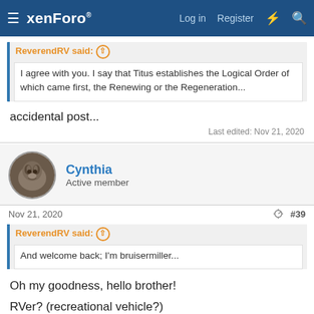xenForo — Log in  Register
ReverendRV said: ↑
I agree with you. I say that Titus establishes the Logical Order of which came first, the Renewing or the Regeneration...
accidental post...
Last edited: Nov 21, 2020
Cynthia
Active member
Nov 21, 2020  #39
ReverendRV said: ↑
And welcome back; I'm bruisermiller...
Oh my goodness, hello brother!
RVer? (recreational vehicle?)